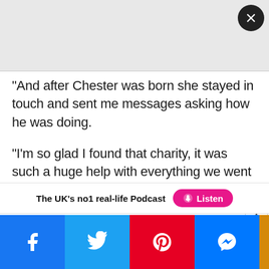[Figure (other): Gray advertisement banner placeholder at the top of the page with a dark circular close (X) button in the upper right corner]
“And after Chester was born she stayed in touch and sent me messages asking how he was doing.

“I’m so glad I found that charity, it was such a huge help with everything we went through.”

To find out more about Little Heartbeats, visit: https://www.little-heartbeats.org.uk/videos-pprom-awareness-in-pregnancy
The UK’s no1 real-life Podcast  Listen
NEXT ARTICLE >